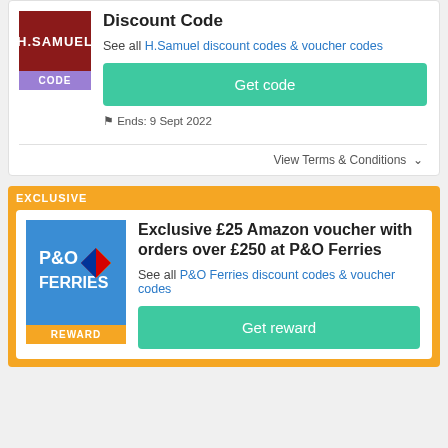Discount Code
See all H.Samuel discount codes & voucher codes
Get code
Ends: 9 Sept 2022
View Terms & Conditions
EXCLUSIVE
Exclusive £25 Amazon voucher with orders over £250 at P&O Ferries
See all P&O Ferries discount codes & voucher codes
Get reward